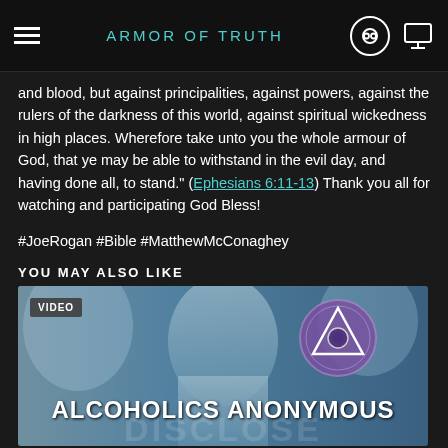ARMOR OF TRUTH
and blood, but against principalities, against powers, against the rulers of the darkness of this world, against spiritual wickedness in high places. Wherefore take unto you the whole armour of God, that ye may be able to withstand in the evil day, and having done all, to stand." (Ephesians 6:11-13) Thank you all for watching and participating God Bless!
#JoeRogan #Bible #MatthewMcConaghey
YOU MAY ALSO LIKE
[Figure (photo): Video thumbnail labeled 'ALCOHOLICS ANONYMOUS' with a person's face and AA logo badge, with 'VIDEO' label overlay]